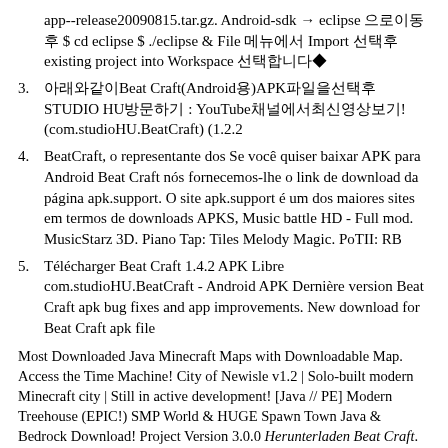app--release20090815.tar.gz. Android-sdk → eclipse 으로이동후 $ cd eclipse $ ./eclipse & File 메뉴에서 Import 선택후existing project into Workspace 선택합니다◆
3. 아래와같이Beat Craft(Android용)APK파일을선택후 STUDIO HU방문하기 : YouTube채널에서최신영상보기! (com.studioHU.BeatCraft) (1.2.2
4. BeatCraft, o representante dos Se você quiser baixar APK para Android Beat Craft nós fornecemos-lhe o link de download da página apk.support. O site apk.support é um dos maiores sites em termos de downloads APKS, Music battle HD - Full mod. MusicStarz 3D. Piano Tap: Tiles Melody Magic. PoTII: RB
5. Télécharger Beat Craft 1.4.2 APK Libre com.studioHU.BeatCraft - Android APK Dernière version Beat Craft apk bug fixes and app improvements. New download for Beat Craft apk file
Most Downloaded Java Minecraft Maps with Downloadable Map. Access the Time Machine! City of Newisle v1.2 | Solo-built modern Minecraft city | Still in active development! [Java // PE] Modern Treehouse (EPIC!) SMP World & HUGE Spawn Town Java & Bedrock Download! Project Version 3.0.0 Herunterladen Beat Craft. Android IOS Windows Phone und PC. Schneller Download, viren- und malwarefrei und 100% verfügbar
Télécharger Beat Craft 1.2.3 APK Libre com.studioHU.BeatCraft - Android APK Dernière version Beat Craft apk bug fixes and app improvements. New